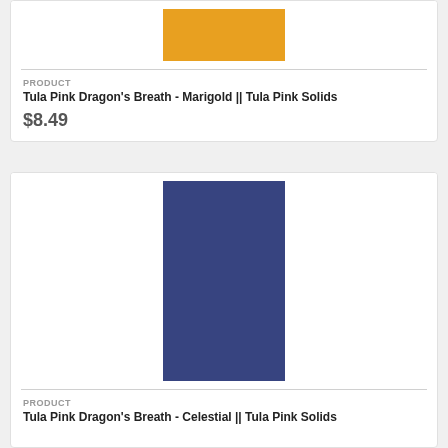[Figure (illustration): Marigold orange color swatch rectangle]
PRODUCT
Tula Pink Dragon's Breath - Marigold || Tula Pink Solids
$8.49
[Figure (illustration): Celestial dark blue color swatch rectangle]
PRODUCT
Tula Pink Dragon's Breath - Celestial || Tula Pink Solids